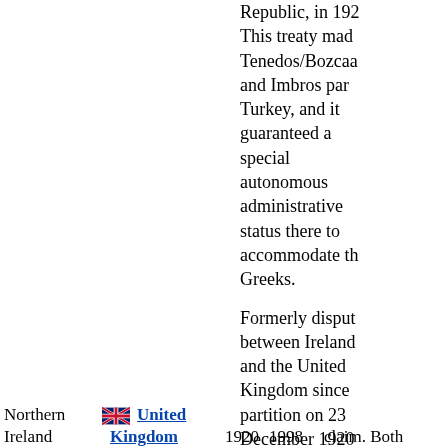Republic, in 192... This treaty made Tenedos/Bozcaa... and Imbros part Turkey, and it guaranteed a special autonomous administrative status there to accommodate th... Greeks.
Formerly disput... between Ireland and the United Kingdom since partition on 23 December 1920 was settled by th... Good Friday Agreement in 1998, when Ireland amended its constitutiona... claim. Both...
Northern Ireland
United Kingdom
1920  1998
claim. Both...